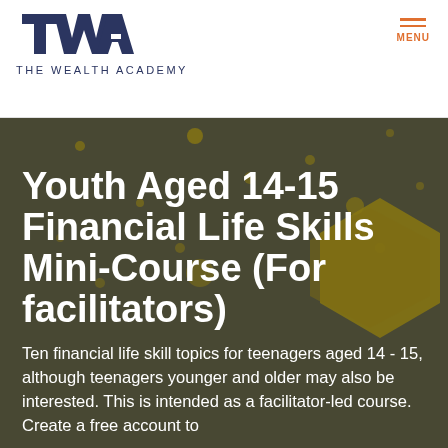[Figure (logo): The Wealth Academy logo — stylized 'TWA' letters in dark blue with 'THE WEALTH ACADEMY' text below]
[Figure (other): Menu icon with two orange horizontal lines and 'MENU' label in orange]
[Figure (illustration): Dark olive/grey hero image with floating golden hexagon/dot shapes and a partially visible gold hexagonal object on the right]
Youth Aged 14-15 Financial Life Skills Mini-Course (For facilitators)
Ten financial life skill topics for teenagers aged 14 - 15, although teenagers younger and older may also be interested. This is intended as a facilitator-led course. Create a free account to